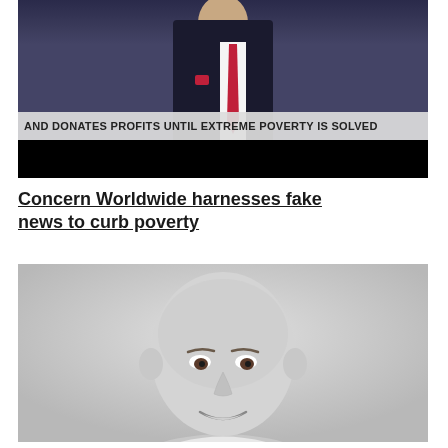[Figure (screenshot): Screenshot of a TV news broadcast showing a male news anchor in a suit with a red tie. A news ticker at the bottom reads: AND DONATES PROFITS UNTIL EXTREME POVERTY IS SOLVED. Below the ticker is a black bar.]
Concern Worldwide harnesses fake news to curb poverty
[Figure (photo): Black and white headshot photo of a bald smiling man, cropped at the shoulders.]